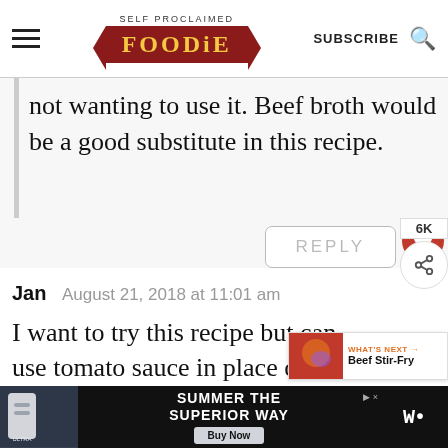SELF PROCLAIMED FOODIE — SUBSCRIBE
not wanting to use it. Beef broth would be a good substitute in this recipe.
REPLY
Jan   August 21, 2018 at 11:01 am
I want to try this recipe but can . use tomato sauce in place of
[Figure (screenshot): Advertisement banner: Michelob ULTRA beer with text 'SUMMER THE SUPERIOR WAY' and a Buy Now button]